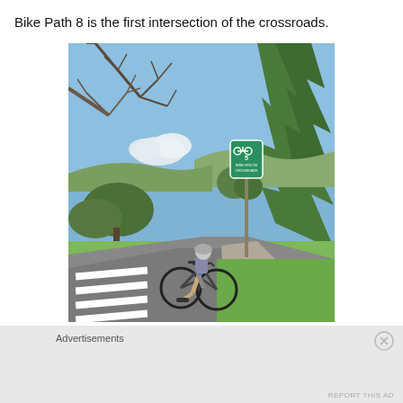Bike Path 8 is the first intersection of the crossroads.
[Figure (photo): A cyclist on a bike path at an intersection. There is a green bike route sign on a post to the right. Trees are visible in the background including bare-branched trees and green pines. The path has white crosswalk markings. The sky is blue with a cloud.]
Advertisements